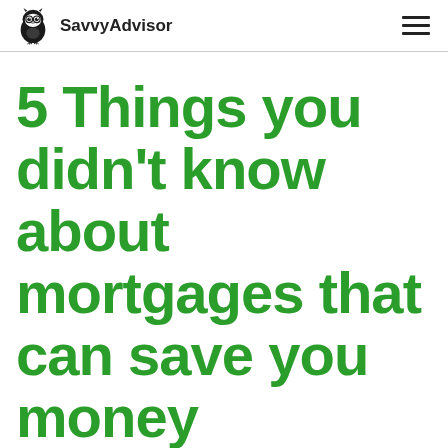SavvyAdvisor
5 Things you didn't know about mortgages that can save you money